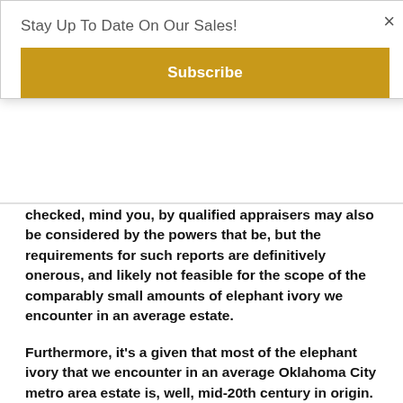Stay Up To Date On Our Sales!
Subscribe
×
checked, mind you, by qualified appraisers may also be considered by the powers that be, but the requirements for such reports are definitively onerous, and likely not feasible for the scope of the comparably small amounts of elephant ivory we encounter in an average estate.
Furthermore, it's a given that most of the elephant ivory that we encounter in an average Oklahoma City metro area estate is, well, mid-20th century in origin. (There are some notable exceptions, granted. We recently encountered a marvelous Chinese Export painting on ivory veneer ca. 1820, and many Japanese netsukes from the late Meiji Period. Again, though, the burden of proof falls upon the estate and the liquidator, and we have to think about feasibility. Furthermore, we've decided that we wouldn't be based in anyway.)